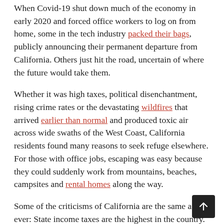When Covid-19 shut down much of the economy in early 2020 and forced office workers to log on from home, some in the tech industry packed their bags, publicly announcing their permanent departure from California. Others just hit the road, uncertain of where the future would take them.
Whether it was high taxes, political disenchantment, rising crime rates or the devastating wildfires that arrived earlier than normal and produced toxic air across wide swaths of the West Coast, California residents found many reasons to seek refuge elsewhere. For those with office jobs, escaping was easy because they could suddenly work from mountains, beaches, campsites and rental homes along the way.
Some of the criticisms of California are the same as ever: State income taxes are the highest in the country. Regulations are stifling. Red tape is everywhere. Living